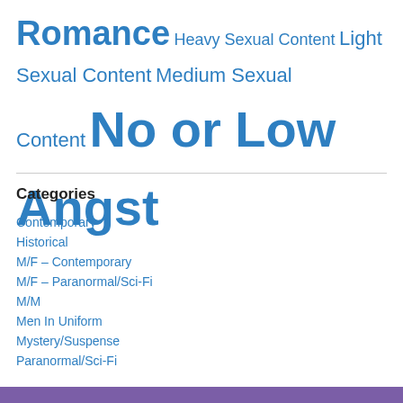Romance Heavy Sexual Content Light Sexual Content Medium Sexual Content No or Low Angst
Categories
Contemporary
Historical
M/F – Contemporary
M/F – Paranormal/Sci-Fi
M/M
Men In Uniform
Mystery/Suspense
Paranormal/Sci-Fi